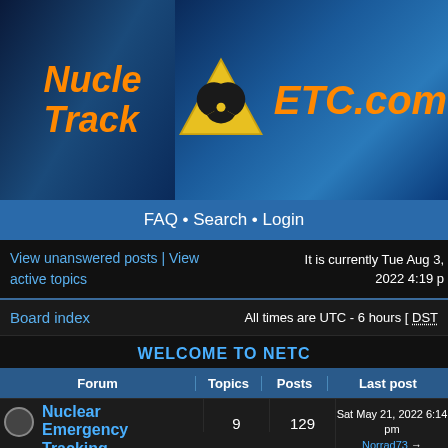[Figure (screenshot): Website header banner with radioactive symbol logo and site name NETC.com on blue background]
FAQ • Search • Login
View unanswered posts | View active topics
It is currently Tue Aug 3, 2022 4:19 p
Board index
All times are UTC - 6 hours [ DST ]
WELCOME TO NETC
| Forum | Topics | Posts | Last post |
| --- | --- | --- | --- |
| Nuclear Emergency Tracking Center
Read about NETC.com network updates, ask any questions, post any... | 9 | 129 | Sat May 21, 2022 6:14 pm
Norrad73 |